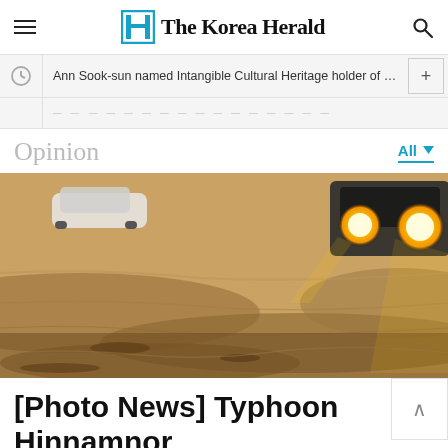The Korea Herald
Ann Sook-sun named Intangible Cultural Heritage holder of 'Chun'...
Opinion
[Figure (photo): Flood scene showing cars in murky brown floodwaters at night, with bright vehicle headlights visible on the right side]
[Photo News] Typhoon Hinnamnor causes flooding, power outages in
[Figure (other): Advertisement banner: DQ logo with Takeout and Delivery text and navigation arrow]